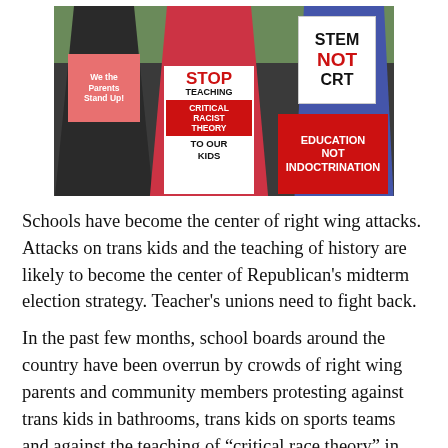[Figure (photo): Protesters holding signs at a rally. Signs read: 'We the Parents Stand Up!', 'STOP TEACHING CRITICAL RACIST THEORY TO OUR KIDS', 'STEM NOT CRT', and 'EDUCATION NOT INDOCTRINATION'.]
Schools have become the center of right wing attacks. Attacks on trans kids and the teaching of history are likely to become the center of Republican's midterm election strategy. Teacher's unions need to fight back.
In the past few months, school boards around the country have been overrun by crowds of right wing parents and community members protesting against trans kids in bathrooms, trans kids on sports teams and against the teaching of “critical race theory” in school.